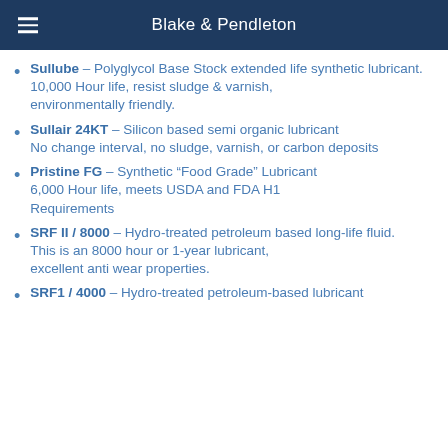Blake & Pendleton
Sullube – Polyglycol Base Stock extended life synthetic lubricant. 10,000 Hour life, resist sludge & varnish, environmentally friendly.
Sullair 24KT – Silicon based semi organic lubricant. No change interval, no sludge, varnish, or carbon deposits
Pristine FG – Synthetic "Food Grade" Lubricant. 6,000 Hour life, meets USDA and FDA H1 Requirements
SRF II / 8000 – Hydro-treated petroleum based long-life fluid. This is an 8000 hour or 1-year lubricant, excellent anti wear properties.
SRF1 / 4000 – Hydro-treated petroleum-based lubricant